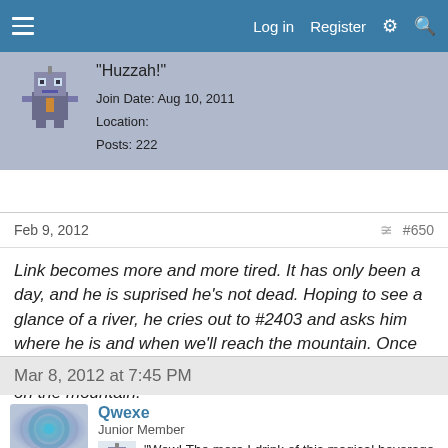Log in  Register
[Figure (screenshot): Pixel art avatar of a robot character]
"Huzzah!"
Join Date: Aug 10, 2011
Location:
Posts: 222
Feb 9, 2012
#650
Link becomes more and more tired. It has only been a day, and he is suprised he's not dead. Hoping to see a glance of a river, he cries out to #2403 and asks him where he is and when we'll reach the mountain. Once again he passes out, purposely, hoping he will awaken on the mountain.
Mar 8, 2012 at 7:45 PM
[Figure (photo): Circular blue/teal abstract swirl photo avatar]
Qwexe
Junior Member
[Figure (illustration): Small pixel art robot avatar]
"Wow! The more I drink of this magical beverage, the more games I can play!